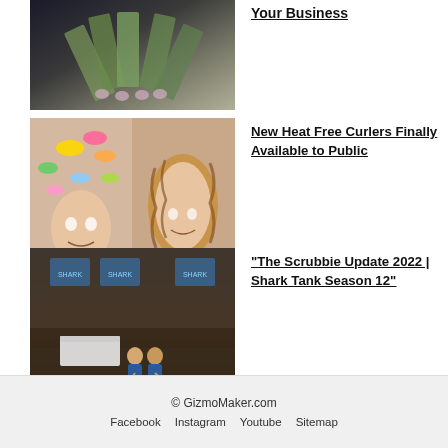[Figure (photo): Hands holding fanned-out US dollar bills]
Your Business
[Figure (photo): Two-panel image: woman with colorful heat-free curlers in hair on left, woman with curly hair result on right]
New Heat Free Curlers Finally Available to Public
[Figure (photo): Shark Tank studio set with contestants and judges]
"The Scrubbie Update 2022 | Shark Tank Season 12"
© GizmoMaker.com   Facebook   Instagram   Youtube   Sitemap